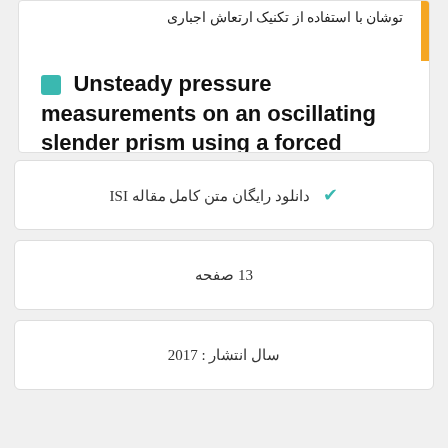توشان با استفاده از تکنیک ارتعاش اجباری
Unsteady pressure measurements on an oscillating slender prism using a forced vibration technique
Keywords: ارتعاش اجباری; Forced vibration; Unsteady pressure; Aerodynamic damping; Aerodynamic stiffness;
دانلود رایگان متن کامل مقاله ISI
13 صفحه
سال انتشار : 2017